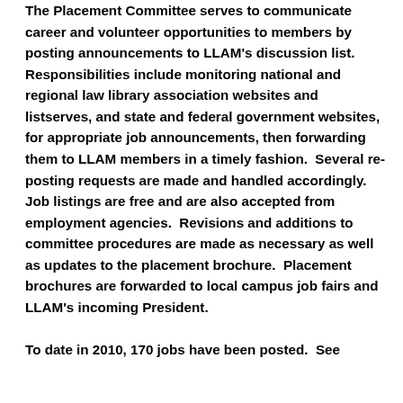The Placement Committee serves to communicate career and volunteer opportunities to members by posting announcements to LLAM's discussion list. Responsibilities include monitoring national and regional law library association websites and listserves, and state and federal government websites, for appropriate job announcements, then forwarding them to LLAM members in a timely fashion.  Several re-posting requests are made and handled accordingly.   Job listings are free and are also accepted from employment agencies.  Revisions and additions to committee procedures are made as necessary as well as updates to the placement brochure.  Placement brochures are forwarded to local campus job fairs and LLAM's incoming President.

To date in 2010, 170 jobs have been posted.  See